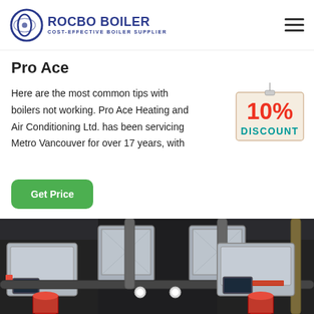ROCBO BOILER — COST-EFFECTIVE BOILER SUPPLIER
Pro Ace
Here are the most common tips with boilers not working. Pro Ace Heating and Air Conditioning Ltd. has been servicing Metro Vancouver for over 17 years, with
[Figure (illustration): 10% DISCOUNT badge hanging on a string, red and blue text on cream background]
[Figure (photo): Industrial boiler room with multiple stainless steel boiler units, pipes, gauges, and control panels]
Get Price